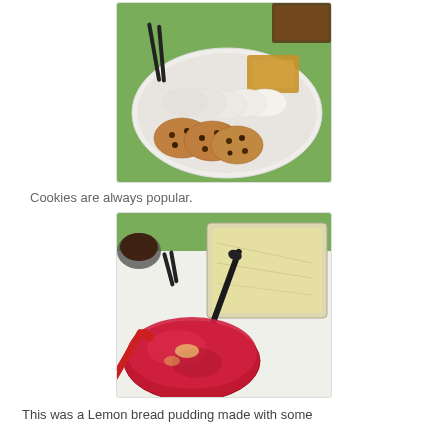[Figure (photo): A plate of assorted cookies including chocolate chip cookies, round white cookies, and graham crackers, displayed on a white plate on a green tablecloth. Black tongs visible in background.]
Cookies are always popular.
[Figure (photo): A food spread showing a red berry sauce in a plastic container with a red spoon, next to a glass dish of lemon bread pudding with a black spoon, on a white table with green tablecloth visible.]
This was a Lemon bread pudding made with some